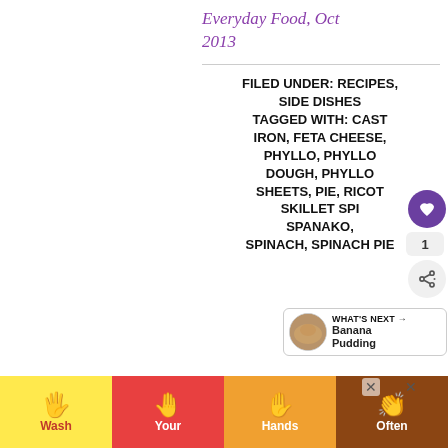Everyday Food, Oct 2013
FILED UNDER: RECIPES, SIDE DISHES TAGGED WITH: CAST IRON, FETA CHEESE, PHYLLO, PHYLLO DOUGH, PHYLLO SHEETS, PIE, RICOTTA, SKILLET SPANAKOPITA, SPINACH, SPINACH PIE
[Figure (other): Wash Your Hands Often banner advertisement at the bottom of the page, with four colored segments showing hand icons and the words Wash, Your, Hands, Often]
[Figure (other): What's Next thumbnail preview showing Banana Pudding with a circular food photo and arrow]
[Figure (other): Heart/like button (purple circle with heart icon) showing count of 1, and share button below it]